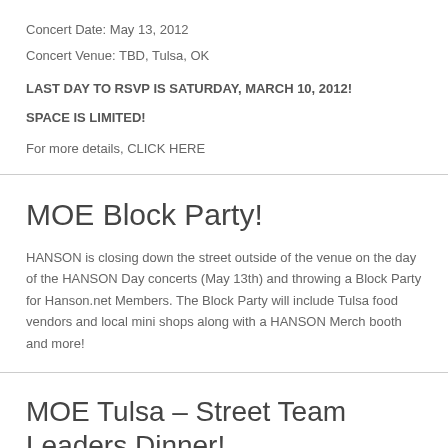Concert Date: May 13, 2012
Concert Venue: TBD, Tulsa, OK
LAST DAY TO RSVP IS SATURDAY, MARCH 10, 2012!
SPACE IS LIMITED!
For more details, CLICK HERE
MOE Block Party!
HANSON is closing down the street outside of the venue on the day of the HANSON Day concerts (May 13th) and throwing a Block Party for Hanson.net Members. The Block Party will include Tulsa food vendors and local mini shops along with a HANSON Merch booth and more!
MOE Tulsa – Street Team Leaders Dinner!